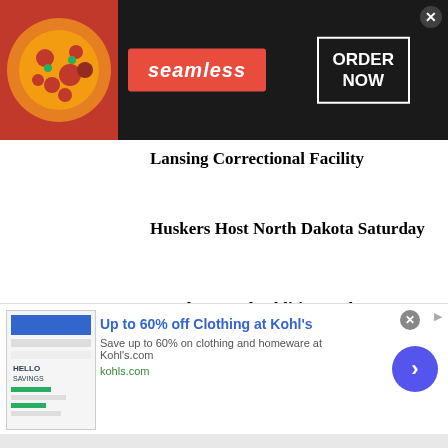[Figure (screenshot): Seamless food delivery advertisement banner with pizza image on left, red Seamless logo in center, and ORDER NOW box on right with close button]
Lansing Correctional Facility
Huskers Host North Dakota Saturday
Coaches Laud Additions, Changes For 2022-23 Wrestling Season
[Figure (screenshot): Kohl's advertisement banner: Up to 60% off Clothing at Kohl's. Save up to 60% on clothing and homeware at Kohl's.com. kohls.com. With store screenshot image and blue arrow button.]